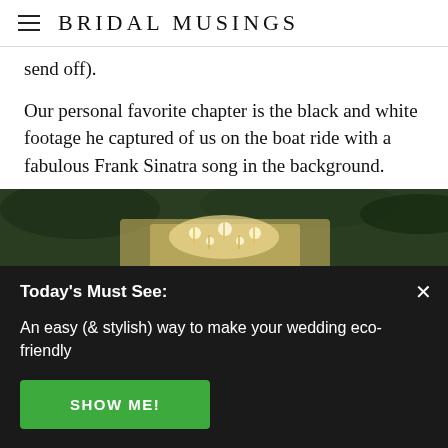BRIDAL MUSINGS
send off).
Our personal favorite chapter is the black and white footage he captured of us on the boat ride with a fabulous Frank Sinatra song in the background.
[Figure (photo): Wedding venue photo showing chandeliers hanging among trees with greenery and warm candlelight]
Today's Must See:
An easy (& stylish) way to make your wedding eco-friendly
SHOW ME!